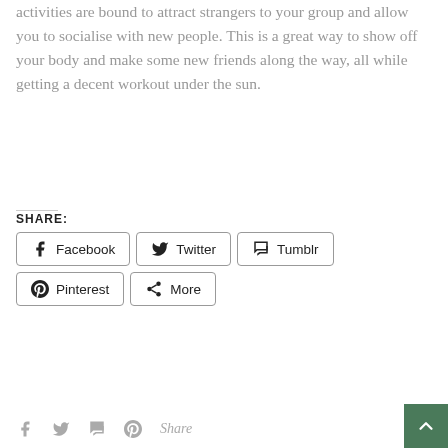activities are bound to attract strangers to your group and allow you to socialise with new people. This is a great way to show off your body and make some new friends along the way, all while getting a decent workout under the sun.
SHARE:
[Figure (other): Social share buttons: Facebook, Twitter, Tumblr, Pinterest, More]
Facebook icon, Twitter icon, Tumblr icon, Pinterest icon, Share